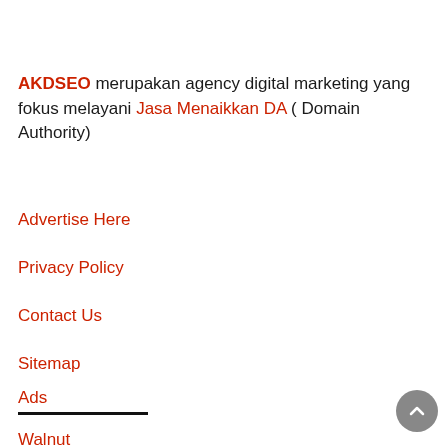AKDSEO merupakan agency digital marketing yang fokus melayani Jasa Menaikkan DA ( Domain Authority)
Advertise Here
Privacy Policy
Contact Us
Sitemap
Ads
Walnut